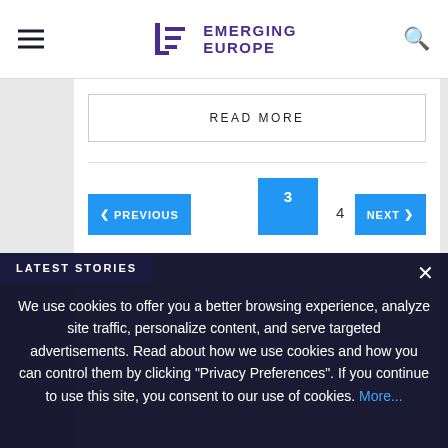EMERGING EUROPE
READ MORE
< PREVIOUS  3  4  5  NEXT >
LATEST STORIES
We use cookies to offer you a better browsing experience, analyze site traffic, personalize content, and serve targeted advertisements. Read about how we use cookies and how you can control them by clicking "Privacy Preferences". If you continue to use this site, you consent to our use of cookies. More...